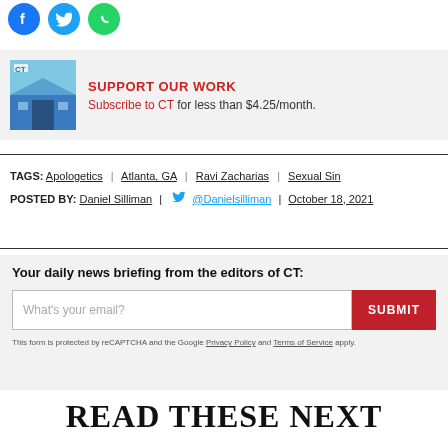[Figure (illustration): Social sharing icons: Facebook (blue circle), Twitter (blue circle), WhatsApp (green circle)]
SUPPORT OUR WORK
Subscribe to CT for less than $4.25/month.
TAGS: Apologetics | Atlanta, GA | Ravi Zacharias | Sexual Sin
POSTED BY: Daniel Silliman | @Danielsilliman | October 18, 2021
Your daily news briefing from the editors of CT:
What's your email?
This form is protected by reCAPTCHA and the Google Privacy Policy and Terms of Service apply.
READ THESE NEXT